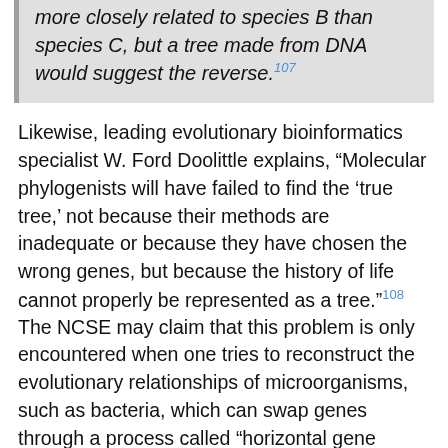more closely related to species B than species C, but a tree made from DNA would suggest the reverse.107
Likewise, leading evolutionary bioinformatics specialist W. Ford Doolittle explains, "Molecular phylogenists will have failed to find the 'true tree,' not because their methods are inadequate or because they have chosen the wrong genes, but because the history of life cannot properly be represented as a tree."108 The NCSE may claim that this problem is only encountered when one tries to reconstruct the evolutionary relationships of microorganisms, such as bacteria, which can swap genes through a process called "horizontal gene transfer," thereby muddying any phylogenetic signal. But the tree of life is